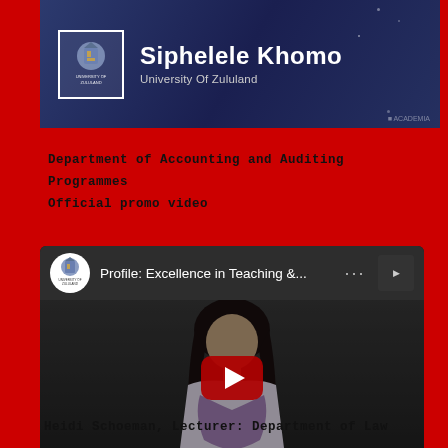[Figure (screenshot): Video thumbnail showing Siphelele Khomo, University of Zululand, with university crest logo in a box on a dark blue background]
Department of Accounting and Auditing Programmes
Official promo video
[Figure (screenshot): YouTube video embed showing 'Profile: Excellence in Teaching &...' with University of Zululand logo, a woman presenter visible, and a red play button overlay]
Heidi Schoeman, Lecturer: Department of Law